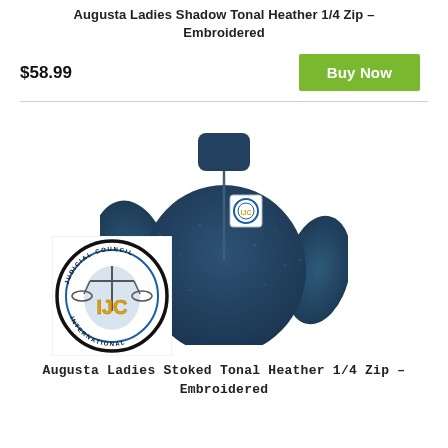Augusta Ladies Shadow Tonal Heather 1/4 Zip - Embroidered
$58.99
Buy Now
[Figure (photo): Photo of a navy blue ladies quarter-zip pullover with embroidered IJC logo patch on the chest, overlaid with a larger IJC (International Judicial Council) circular logo.]
Augusta Ladies Stoked Tonal Heather 1/4 Zip - Embroidered